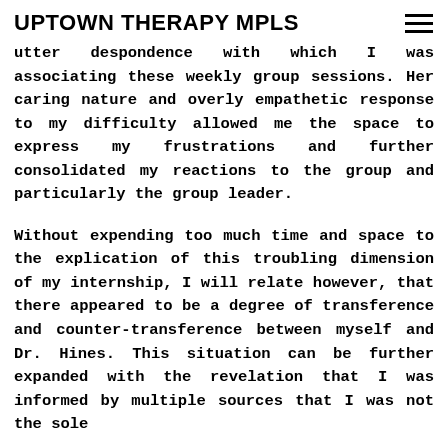UPTOWN THERAPY MPLS
utter despondence with which I was associating these weekly group sessions.  Her caring nature and overly empathetic response to my difficulty allowed me the space to express my frustrations and further consolidated my reactions to the group and particularly the group leader.
Without expending too much time and space to the explication of this troubling dimension of my internship, I will relate however, that there appeared to be a degree of transference and counter-transference between myself and Dr. Hines.  This situation can be further expanded with the revelation that I was informed by multiple sources that I was not the sole